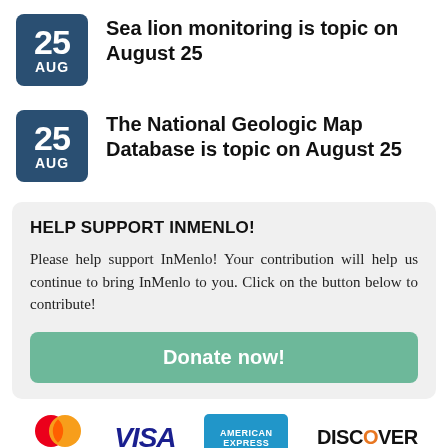Sea lion monitoring is topic on August 25
The National Geologic Map Database is topic on August 25
HELP SUPPORT INMENLO!
Please help support InMenlo! Your contribution will help us continue to bring InMenlo to you. Click on the button below to contribute!
Donate now!
[Figure (logo): Mastercard, Visa, American Express, Discover payment logos]